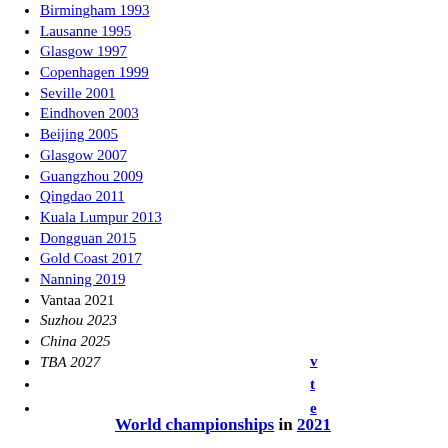Birmingham 1993
Lausanne 1995
Glasgow 1997
Copenhagen 1999
Seville 2001
Eindhoven 2003
Beijing 2005
Glasgow 2007
Guangzhou 2009
Qingdao 2011
Kuala Lumpur 2013
Dongguan 2015
Gold Coast 2017
Nanning 2019
Vantaa 2021
Suzhou 2023
China 2025
TBA 2027
v
t
e
World championships in 2021